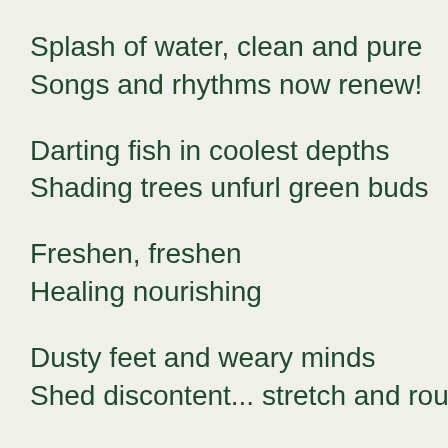Splash of water, clean and pure
Songs and rhythms now renew!
Darting fish in coolest depths
Shading trees unfurl green buds
Freshen, freshen
Healing nourishing
Dusty feet and weary minds
Shed discontent... stretch and rouse
Quickening hearts claim moment's peace
Restoring sipping and fresh...